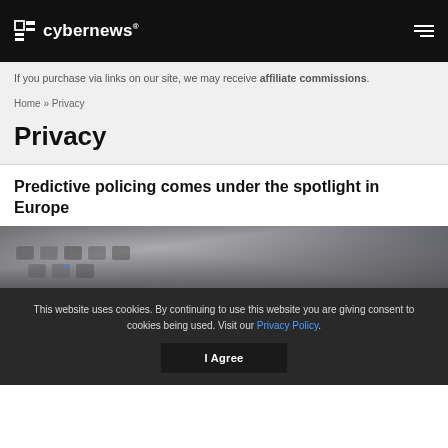cybernews®
If you purchase via links on our site, we may receive affiliate commissions.
Home » Privacy
Privacy
Predictive policing comes under the spotlight in Europe
[Figure (photo): Close-up photo of a dark computer keyboard with blurred keys]
This website uses cookies. By continuing to use this website you are giving consent to cookies being used. Visit our Privacy Policy.
I Agree